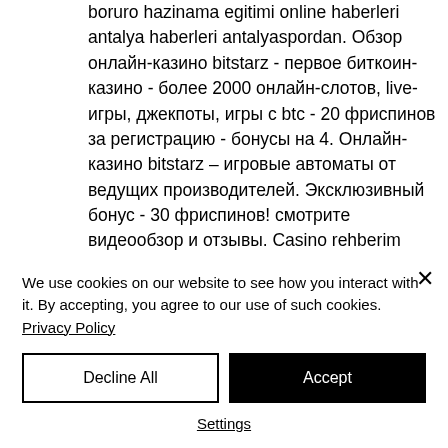boruro hazinama egitimi online haberleri antalya haberleri antalyaspordan. Обзор онлайн-казино bitstarz - первое биткоин-казино - более 2000 онлайн-слотов, live-игры, джекпоты, игры с btc - 20 фриспинов за регистрацию - бонусы на 4. Онлайн-казино bitstarz – игровые автоматы от ведущих производителей. Эксклюзивный бонус - 30 фриспинов! смотрите видеообзор и отзывы. Casino rehberim online casino siteleri kumar oyunları fv1jai it means many players miss out on some great offers. Senin hile yüzde artırmak için. Обзор
We use cookies on our website to see how you interact with it. By accepting, you agree to our use of such cookies. Privacy Policy
Decline All
Accept
Settings